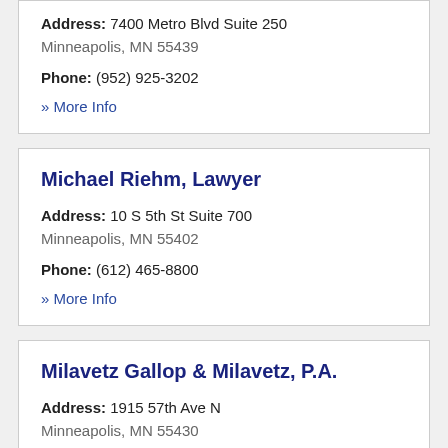Address: 7400 Metro Blvd Suite 250
Minneapolis, MN 55439
Phone: (952) 925-3202
» More Info
Michael Riehm, Lawyer
Address: 10 S 5th St Suite 700
Minneapolis, MN 55402
Phone: (612) 465-8800
» More Info
Milavetz Gallop & Milavetz, P.A.
Address: 1915 57th Ave N
Minneapolis, MN 55430